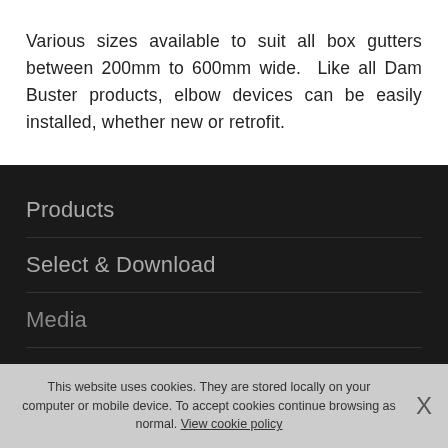Various sizes available to suit all box gutters between 200mm to 600mm wide. Like all Dam Buster products, elbow devices can be easily installed, whether new or retrofit.
Products
Select & Download
Media
Buy
This website uses cookies. They are stored locally on your computer or mobile device. To accept cookies continue browsing as normal. View cookie policy